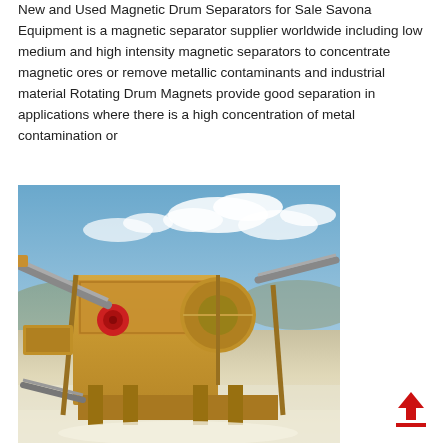New and Used Magnetic Drum Separators for Sale Savona Equipment is a magnetic separator supplier worldwide including low medium and high intensity magnetic separators to concentrate magnetic ores or remove metallic contaminants and industrial material Rotating Drum Magnets provide good separation in applications where there is a high concentration of metal contamination or
[Figure (photo): Photograph of a large industrial magnetic drum separator / crushing and screening machine on a job site, mounted on a wheeled chassis, painted golden/yellow-brown, with conveyor belts, under a partly cloudy blue sky.]